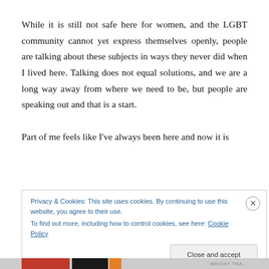While it is still not safe here for women, and the LGBT community cannot yet express themselves openly, people are talking about these subjects in ways they never did when I lived here. Talking does not equal solutions, and we are a long way away from where we need to be, but people are speaking out and that is a start.

Part of me feels like I've always been here and now it is
Privacy & Cookies: This site uses cookies. By continuing to use this website, you agree to their use.
To find out more, including how to control cookies, see here: Cookie Policy
Close and accept